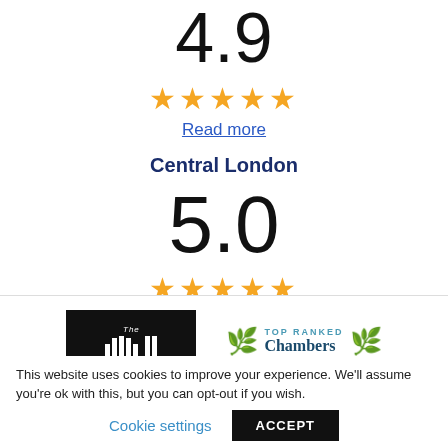4.9
[Figure (other): 5 gold stars rating (4.9)]
Read more
Central London
5.0
[Figure (other): 5 gold stars rating (5.0)]
Read more
[Figure (logo): The IVLII (Times) logo on black background]
[Figure (logo): TOP RANKED Chambers logo with blue laurel leaves]
This website uses cookies to improve your experience. We'll assume you're ok with this, but you can opt-out if you wish.
Cookie settings
ACCEPT